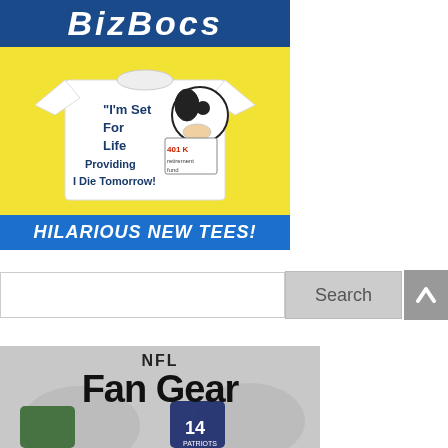[Figure (advertisement): Ad banner for 'BizBocs' showing a white t-shirt with a dog cartoon and text 'I'm Set For Life Providing I Die Tomorrow!' with '401K retirement fund' on a paper. Blue background with yellow image area. Bottom bar reads 'HILARIOUS NEW TEES!']
[Figure (screenshot): Search bar with white input field and gray 'Search' button. Gray scroll-to-top arrow button on the right.]
[Figure (advertisement): NFL Fan Gear advertisement banner showing 'NFL' above 'Fan Gear' in large text, with football jersey images (green and Patriots blue) on a gray background.]